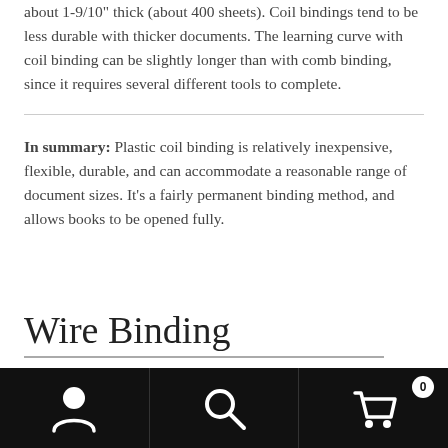about 1-9/10" thick (about 400 sheets). Coil bindings tend to be less durable with thicker documents. The learning curve with coil binding can be slightly longer than with comb binding, since it requires several different tools to complete.
In summary: Plastic coil binding is relatively inexpensive, flexible, durable, and can accommodate a reasonable range of document sizes. It's a fairly permanent binding method, and allows books to be opened fully.
Wire Binding
[Figure (other): Mobile navigation bar with user icon, search icon, and cart icon with badge showing 0]